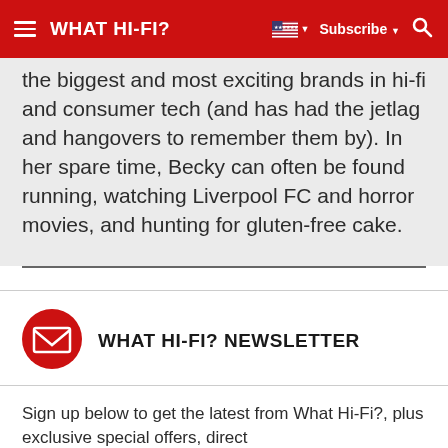WHAT HI-FI?  Subscribe
the biggest and most exciting brands in hi-fi and consumer tech (and has had the jetlag and hangovers to remember them by). In her spare time, Becky can often be found running, watching Liverpool FC and horror movies, and hunting for gluten-free cake.
WHAT HI-FI? NEWSLETTER
Sign up below to get the latest from What Hi-Fi?, plus exclusive special offers, direct